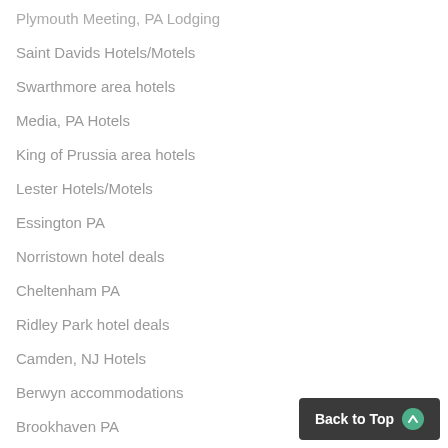Plymouth Meeting, PA Lodging
Saint Davids Hotels/Motels
Swarthmore area hotels
Media, PA Hotels
King of Prussia area hotels
Lester Hotels/Motels
Essington PA
Norristown hotel deals
Cheltenham PA
Ridley Park hotel deals
Camden, NJ Hotels
Berwyn accommodations
Brookhaven PA
Blue Bell cheap hotels
Back to Top